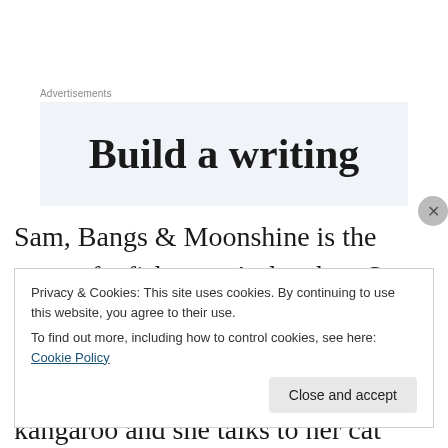Advertisements
[Figure (other): Advertisement banner showing text 'Build a writing']
Sam, Bangs & Moonshine is the story of a fisherman's daughter Sam (Samantha) who has a expansive imagination. She tells people her mother is a mermaid, that she owns a kangaroo and she talks to her cat (Bangs)
Privacy & Cookies: This site uses cookies. By continuing to use this website, you agree to their use.
To find out more, including how to control cookies, see here: Cookie Policy
Close and accept